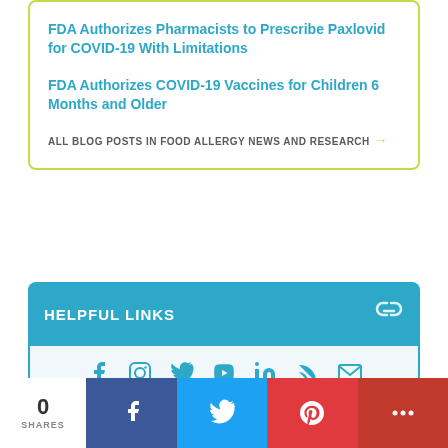FDA Authorizes Pharmacists to Prescribe Paxlovid for COVID-19 With Limitations
FDA Authorizes COVID-19 Vaccines for Children 6 Months and Older
ALL BLOG POSTS IN FOOD ALLERGY NEWS AND RESEARCH →
HELPFUL LINKS
Food Allergy Facts   New Diagnosis   Food Allergens
0 SHARES